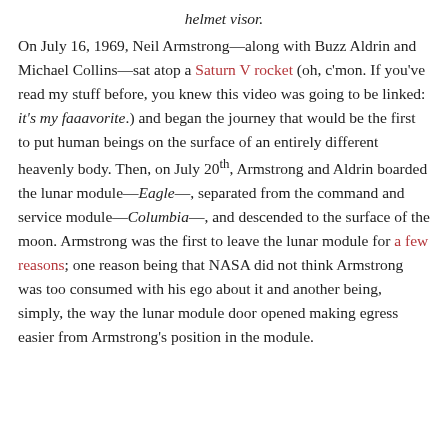helmet visor.
On July 16, 1969, Neil Armstrong—along with Buzz Aldrin and Michael Collins—sat atop a Saturn V rocket (oh, c'mon. If you've read my stuff before, you knew this video was going to be linked: it's my faaavorite.) and began the journey that would be the first to put human beings on the surface of an entirely different heavenly body. Then, on July 20th, Armstrong and Aldrin boarded the lunar module—Eagle—, separated from the command and service module—Columbia—, and descended to the surface of the moon. Armstrong was the first to leave the lunar module for a few reasons; one reason being that NASA did not think Armstrong was too consumed with his ego about it and another being, simply, the way the lunar module door opened making egress easier from Armstrong's position in the module.